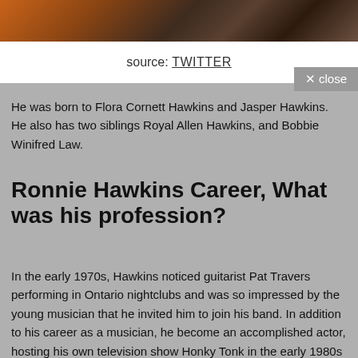[Figure (photo): Top portion of a photo showing colorful items including what appears to be pumpkins and dark objects]
source: TWITTER
He was born to Flora Cornett Hawkins and Jasper Hawkins. He also has two siblings Royal Allen Hawkins, and Bobbie Winifred Law.
Ronnie Hawkins Career, What was his profession?
In the early 1970s, Hawkins noticed guitarist Pat Travers performing in Ontario nightclubs and was so impressed by the young musician that he invited him to join his band. In addition to his career as a musician, he become an accomplished actor, hosting his own television show Honky Tonk in the early 1980s and appearing in such films as Heaven's Gate with his friend Kris Kristofferson, Hello Mary Lou: Prom Night II, and